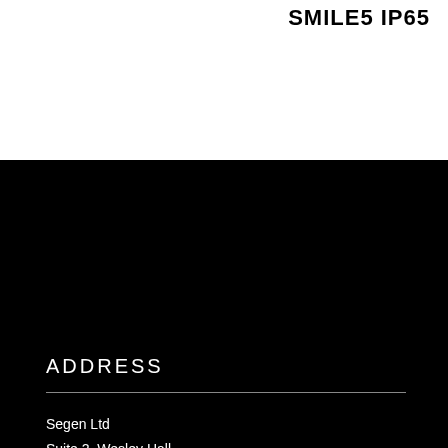SMILE5 IP65
ADDRESS
Segen Ltd
Suite 2, Wesley Hall
Barrack Rd, Aldershot
GU11 3NP, UK
CONTACT US